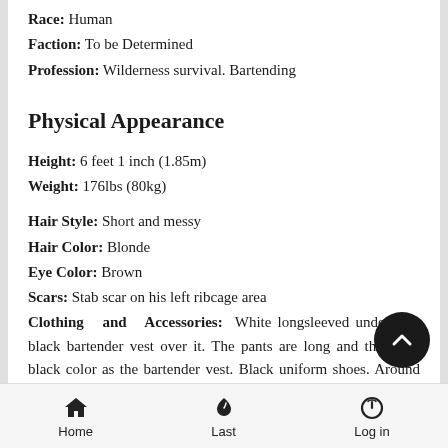Race: Human
Faction: To be Determined
Profession: Wilderness survival. Bartending
Physical Appearance
Height: 6 feet 1 inch (1.85m)
Weight: 176lbs (80kg)
Hair Style: Short and messy
Hair Color: Blonde
Eye Color: Brown
Scars: Stab scar on his left ribcage area
Clothing and Accessories: White longsleeved undershirt, black bartender vest over it. The pants are long and the same black color as the bartender vest. Black uniform shoes. Around the collar he has the black bow tie. From time to time he is seen to wear shades. From his back pocket, he has a pair of black gloves hanging out.
Home | Last | Log in